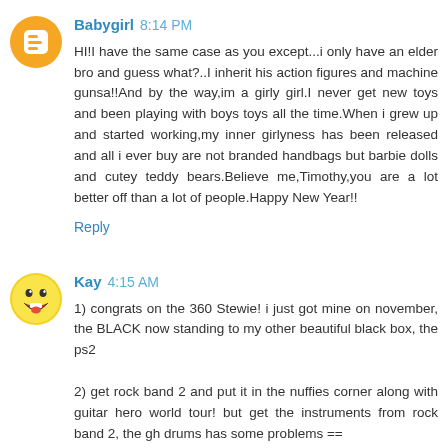Babygirl 8:14 PM
HI!I have the same case as you except...i only have an elder bro and guess what?..I inherit his action figures and machine gunsa!!And by the way,im a girly girl.I never get new toys and been playing with boys toys all the time.When i grew up and started working,my inner girlyness has been released and all i ever buy are not branded handbags but barbie dolls and cutey teddy bears.Believe me,Timothy,you are a lot better off than a lot of people.Happy New Year!!
Reply
Kay 4:15 AM
1) congrats on the 360 Stewie! i just got mine on november, the BLACK one =)it's now standing to my other beautiful black box, the ps2

2) get rock band 2 and put it in the nuffies corner along with guitar hero world tour! but get the instruments from rock band 2, the gh drums has some problems ==